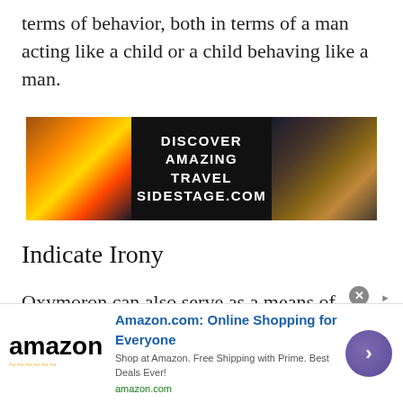terms of behavior, both in terms of a man acting like a child or a child behaving like a man.
[Figure (advertisement): Travel advertisement banner showing two sunset/landscape photos flanking centered text: DISCOVER AMAZING TRAVEL SIDESTAGE.COM]
Indicate Irony
Oxymoron can also serve as a means of elevated language when used to express a sense of irony. For example, oxymoron phrases such as marital bliss, military intelligence, and business ethics, depending on how they are used as figures of speech, can be effective literary devices to indicate irony. These word pairings are not inherently opposite, but their individual concepts can seem
[Figure (advertisement): Amazon advertisement banner: Amazon.com: Online Shopping for Everyone. Shop at Amazon. Free Shipping with Prime. Best Deals Ever! amazon.com]